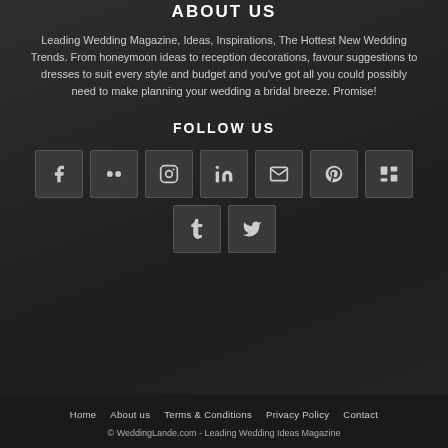ABOUT US
Leading Wedding Magazine, Ideas, Inspirations, The Hottest New Wedding Trends. From honeymoon ideas to reception decorations, favour suggestions to dresses to suit every style and budget and you've got all you could possibly need to make planning your wedding a bridal breeze. Promise!
FOLLOW US
[Figure (infographic): Row of 7 social media icon buttons: Facebook, Flickr, Instagram, LinkedIn, Email, Pinterest, Mix; then a second row with Tumblr and Twitter icons]
Home   About us   Terms & Conditions   Privacy Policy   Contact
© WeddingLande.com - Leading Wedding Ideas Magazine